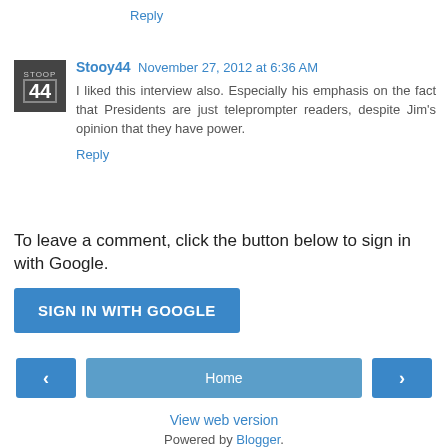Reply
Stooy44  November 27, 2012 at 6:36 AM
I liked this interview also. Especially his emphasis on the fact that Presidents are just teleprompter readers, despite Jim's opinion that they have power.
Reply
To leave a comment, click the button below to sign in with Google.
[Figure (screenshot): SIGN IN WITH GOOGLE button in blue]
[Figure (screenshot): Navigation: left arrow, Home button, right arrow]
View web version
Powered by Blogger.